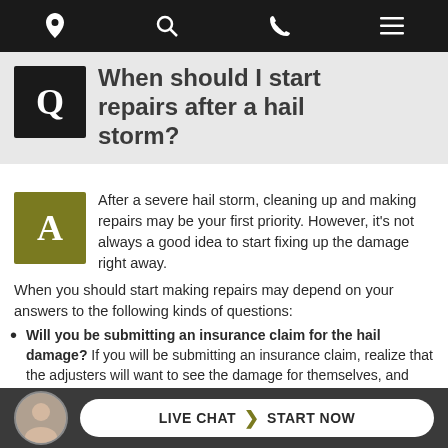Navigation bar with icons: location, search, phone, menu
When should I start repairs after a hail storm?
After a severe hail storm, cleaning up and making repairs may be your first priority. However, it's not always a good idea to start fixing up the damage right away. When you should start making repairs may depend on your answers to the following kinds of questions:
Will you be submitting an insurance claim for the hail damage? If you will be submitting an insurance claim, realize that the adjusters will want to see the damage for themselves, and you may need to contact a professional to help and own.
LIVE CHAT  START NOW